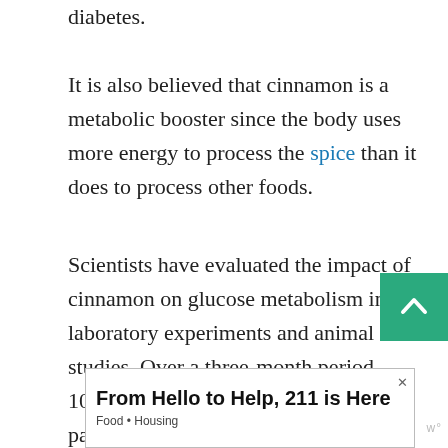diabetes.
It is also believed that cinnamon is a metabolic booster since the body uses more energy to process the spice than it does to process other foods.
Scientists have evaluated the impact of cinnamon on glucose metabolism in laboratory experiments and animal studies. Over a three-month period, 109 patients with diabetes type 2 took part in the study. The treated group was fed 1 g of cinnamon. In the treated group, haemoglobin A1c (HbA1c)
[Figure (other): Green scroll-to-top button with upward chevron arrow]
[Figure (other): Advertisement banner: 'From Hello to Help, 211 is Here' with subtitle 'Food • Housing']